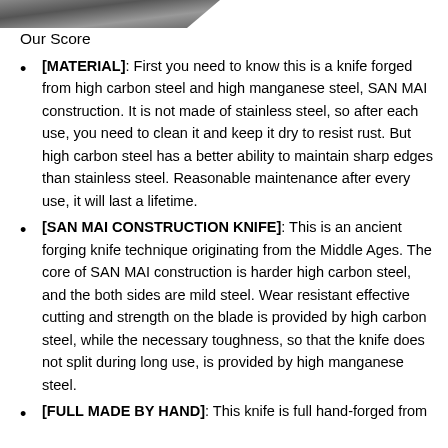[Figure (photo): Partial image of a knife blade visible at the top of the page]
Our Score
[MATERIAL]: First you need to know this is a knife forged from high carbon steel and high manganese steel, SAN MAI construction. It is not made of stainless steel, so after each use, you need to clean it and keep it dry to resist rust. But high carbon steel has a better ability to maintain sharp edges than stainless steel. Reasonable maintenance after every use, it will last a lifetime.
[SAN MAI CONSTRUCTION KNIFE]: This is an ancient forging knife technique originating from the Middle Ages. The core of SAN MAI construction is harder high carbon steel, and the both sides are mild steel. Wear resistant effective cutting and strength on the blade is provided by high carbon steel, while the necessary toughness, so that the knife does not split during long use, is provided by high manganese steel.
[FULL MADE BY HAND]: This knife is full hand-forged from